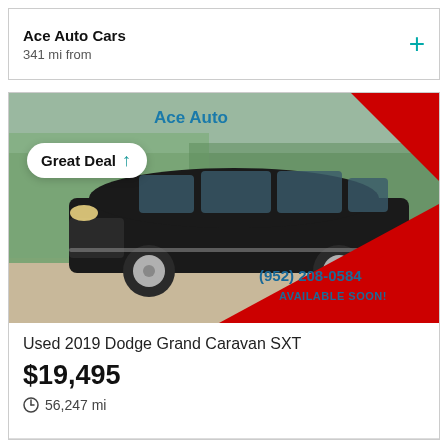Ace Auto Cars
341 mi from
[Figure (photo): Black 2019 Dodge Grand Caravan SXT minivan parked outdoors, viewed from the front-left angle. The photo has a red diagonal stripe in the top-right corner and bottom-right area. 'Ace Auto' text appears in the top-left of the photo, and a 'Great Deal' badge with a teal arrow overlays the top-left. Phone number (952) 208-0584 and 'AVAILABLE SOON!' text appear in the bottom-right corner.]
Used 2019 Dodge Grand Caravan SXT
$19,495
56,247 mi